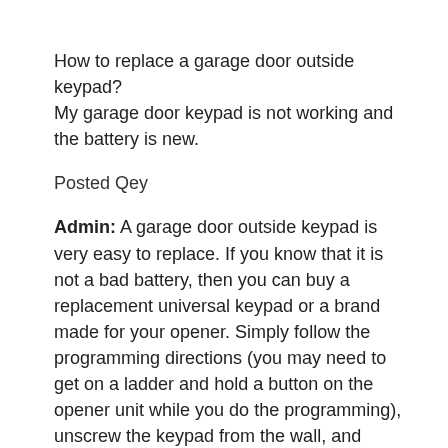How to replace a garage door outside keypad?
My garage door keypad is not working and the battery is new.
Posted Qey
Admin: A garage door outside keypad is very easy to replace. If you know that it is not a bad battery, then you can buy a replacement universal keypad or a brand made for your opener. Simply follow the programming directions (you may need to get on a ladder and hold a button on the opener unit while you do the programming), unscrew the keypad from the wall, and screw the new one in the same spot. For a beginner, the whole process should take less than 15 minutes. (You may need to drill new holes if the screws on the new keypad do not match the ones from the old one.)